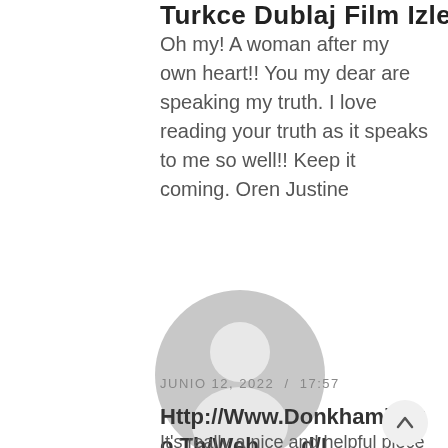Turkce Dublaj Film Izle
Oh my! A woman after my own heart!! You my dear are speaking my truth. I love reading your truth as it speaks to me so well!! Keep it coming. Oren Justine
[Figure (illustration): Generic grey avatar/profile icon: circular silhouette with head and shoulders on white background]
JUNIO 12, 2022 / 17:57
Http://Www.Donkhamin.Go.Th/Web d/I... Action=Profile;U=176866
It's really a nice and helpful piece of